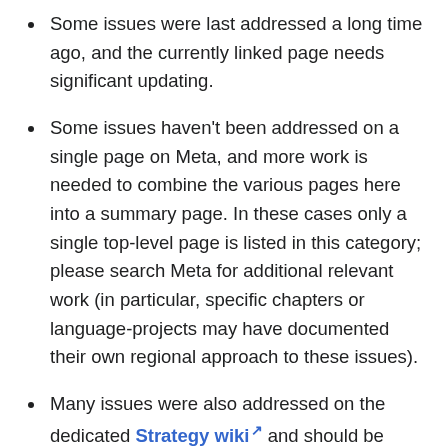Some issues were last addressed a long time ago, and the currently linked page needs significant updating.
Some issues haven't been addressed on a single page on Meta, and more work is needed to combine the various pages here into a summary page. In these cases only a single top-level page is listed in this category; please search Meta for additional relevant work (in particular, specific chapters or language-projects may have documented their own regional approach to these issues).
Many issues were also addressed on the dedicated Strategy wiki and should be transwikied back here. (Our conclusion in 2011, when that wiki was closed to new edits, was that the strategy wiki should be merged back into Meta.)
Issues don't necessarily need immediate resolution, they